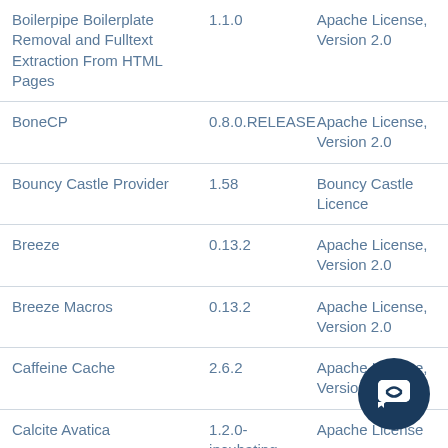| Component | Version | License |
| --- | --- | --- |
| Boilerpipe Boilerplate Removal and Fulltext Extraction From HTML Pages | 1.1.0 | Apache License, Version 2.0 |
| BoneCP | 0.8.0.RELEASE | Apache License, Version 2.0 |
| Bouncy Castle Provider | 1.58 | Bouncy Castle Licence |
| Breeze | 0.13.2 | Apache License, Version 2.0 |
| Breeze Macros | 0.13.2 | Apache License, Version 2.0 |
| Caffeine Cache | 2.6.2 | Apache License, Version 2.0 |
| Calcite Avatica | 1.2.0-incubating | Apache License |